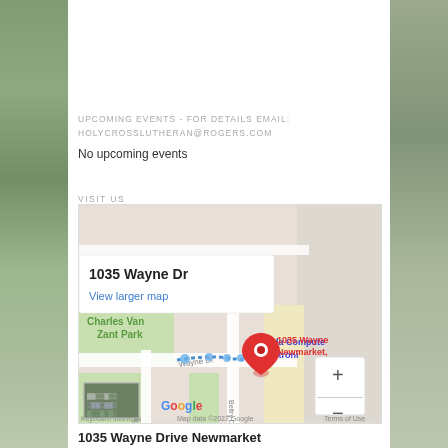[Figure (illustration): Colorful illustrated banner reading 'Celebrating Pentecost' with decorative imagery]
UPCOMING EVENTS - FOR DETAILS EMAIL:
HOLYCROSSLUTHERAN@ROGERS.COM
No upcoming events
VISIT US
[Figure (map): Google Maps showing location at 1035 Wayne Dr, Newmarket, with a red pin marker. Shows Charles Van Zant Park nearby, Wayne Dr, Beltry Dr, Canada Computers & Electronics. Zoom controls visible. Map data ©2022 Google.]
1035 Wayne Drive Newmarket